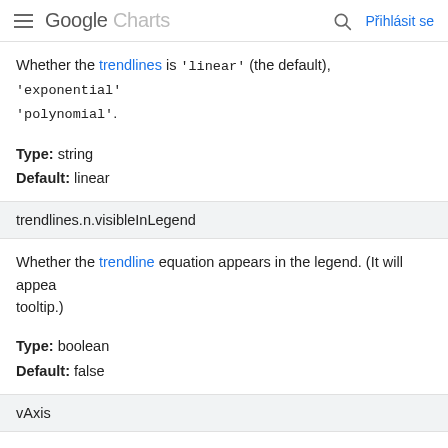Google Charts — Přihlásit se
Whether the trendlines is 'linear' (the default), 'exponential' 'polynomial'.
Type: string
Default: linear
trendlines.n.visibleInLegend
Whether the trendline equation appears in the legend. (It will appea tooltip.)
Type: boolean
Default: false
vAxis
An object with members to configure various vertical axis elements properties of this object, you can use object literal notation, as sho
{title: 'Hello', titleTextStyle: {color: '#FF000